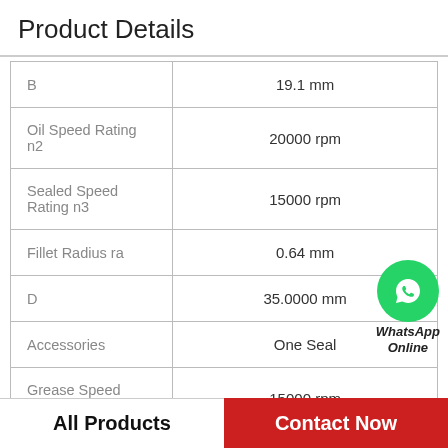Product Details
| Property | Value |
| --- | --- |
| B | 19.1 mm |
| Oil Speed Rating n2 | 20000 rpm |
| Sealed Speed Rating n3 | 15000 rpm |
| Fillet Radius ra | 0.64 mm |
| D | 35.0000 mm |
| Accessories | One Seal |
| Grease Speed Rating n1 | 15000 rpm |
[Figure (logo): WhatsApp Online badge with green circle phone icon and bold italic text WhatsApp Online]
All Products
Contact Now